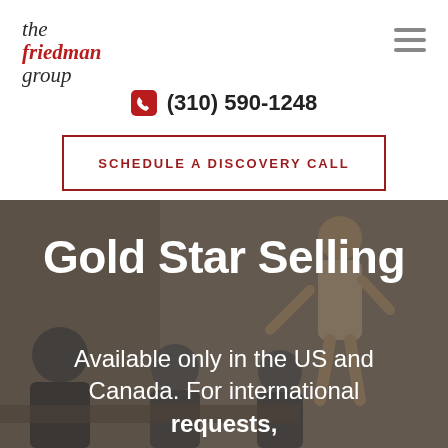[Figure (logo): The Friedman Group logo — italic serif text in dark gray and red]
(310) 590-1248
SCHEDULE A DISCOVERY CALL
[Figure (photo): Dark overlay photo of a business training session with a presenter and seated participants]
Gold Star Selling
Available only in the US and Canada. For international requests,